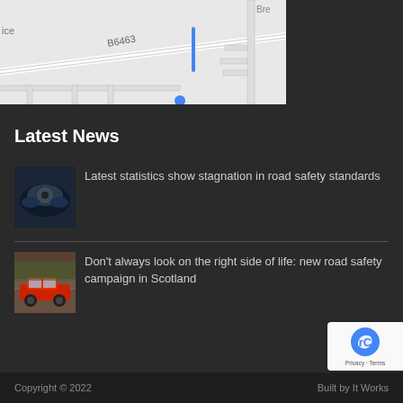[Figure (map): Partial street map showing B6463 road label and partial 'ice' label on left, with 'Bre...' label on right. Blue marker/pin visible near bottom center. Light gray road network on white/light gray background.]
Latest News
[Figure (photo): Close-up photo of the front of a dark blue car, showing headlight and front grille area.]
Latest statistics show stagnation in road safety standards
[Figure (photo): Photo of a red sports car (Ferrari-style) on a road with trees in background.]
Don't always look on the right side of life: new road safety campaign in Scotland
Copyright © 2022
Built by It Works